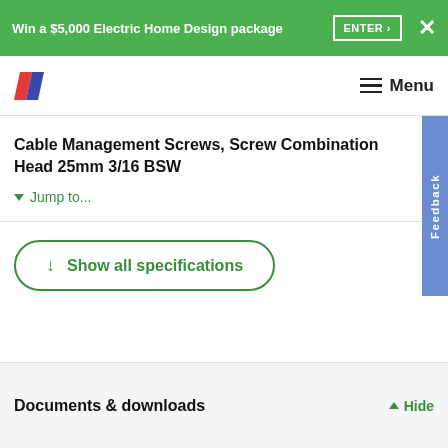Win a $5,000 Electric Home Design package ENTER ×
[Figure (logo): Company logo with two diagonal parallelograms in red and blue/purple]
Menu
Cable Management Screws, Screw Combination Head 25mm 3/16 BSW
▼ Jump to...
↓  Show all specifications
Documents & downloads
▲ Hide